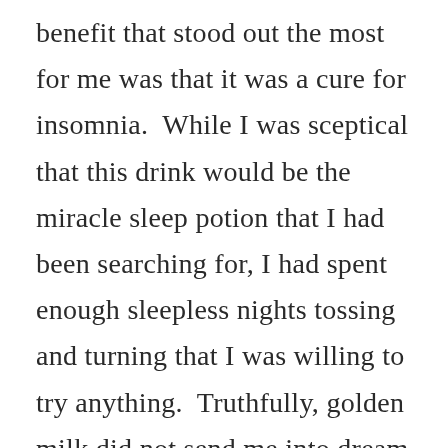benefit that stood out the most for me was that it was a cure for insomnia.  While I was sceptical that this drink would be the miracle sleep potion that I had been searching for, I had spent enough sleepless nights tossing and turning that I was willing to try anything.  Truthfully, golden milk did not send me into dream land for the next eight hours like I had been hoping but it was delicious and very relaxing and that was a start.

Over time I have fine tuned my own golden milk